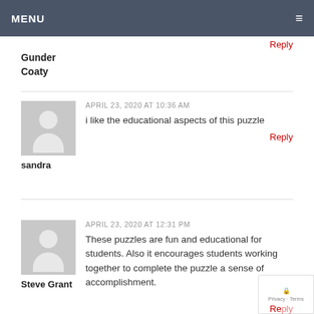MENU
Reply
Gunder
Coaty
APRIL 23, 2020 AT 10:36 AM
i like the educational aspects of this puzzle
Reply
sandra
APRIL 23, 2020 AT 12:31 PM
These puzzles are fun and educational for students. Also it encourages students working together to complete the puzzle a sense of accomplishment.
Steve Grant